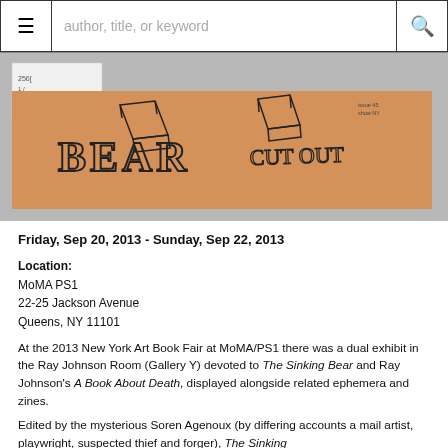≡  author, title, or keyword  🔍
[Figure (photo): A tan/beige cardboard or paper with handwritten and stenciled text reading 'BEAR CUT OUT' with outline drawings of book shapes at the top. A white paper/envelope is visible at the top left corner.]
Friday, Sep 20, 2013 - Sunday, Sep 22, 2013
Location:
MoMA PS1
22-25 Jackson Avenue
Queens, NY 11101
At the 2013 New York Art Book Fair at MoMA/PS1 there was a dual exhibit in the Ray Johnson Room (Gallery Y) devoted to The Sinking Bear and Ray Johnson's A Book About Death, displayed alongside related ephemera and zines.
Edited by the mysterious Soren Agenoux (by differing accounts a mail artist, playwright, suspected thief and forger), The Sinking